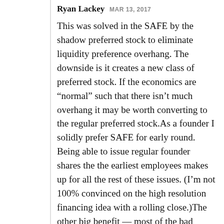Ryan Lackey MAR 13, 2017
This was solved in the SAFE by the shadow preferred stock to eliminate liquidity preference overhang. The downside is it creates a new class of preferred stock. If the economics are “normal” such that there isn’t much overhang it may be worth converting to the regular preferred stock.As a founder I solidly prefer SAFE for early round. Being able to issue regular founder shares the the earliest employees makes up for all the rest of these issues. (I’m not 100% convinced on the high resolution financing idea with a rolling close.)The other big benefit — most of the bad economics from SAFEs in multiple non-increasing-cap raises some from what would have